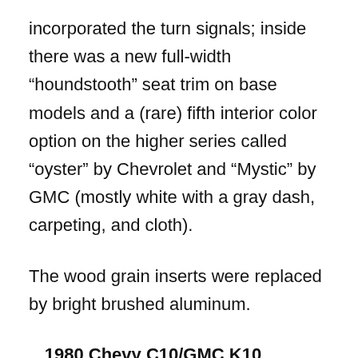incorporated the turn signals; inside there was a new full-width “houndstooth” seat trim on base models and a (rare) fifth interior color option on the higher series called “oyster” by Chevrolet and “Mystic” by GMC (mostly white with a gray dash, carpeting, and cloth).
The wood grain inserts were replaced by bright brushed aluminum.
1980 Chevy C10/GMC K10 Differences
For the 1980 model year, permanent four-wheel drive was discontinued on K-Series, leaving only